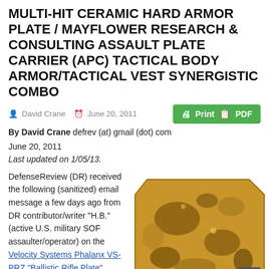MULTI-HIT CERAMIC HARD ARMOR PLATE / MAYFLOWER RESEARCH & CONSULTING ASSAULT PLATE CARRIER (APC) TACTICAL BODY ARMOR/TACTICAL VEST SYNERGISTIC COMBO
David Crane   June 20, 2011
By David Crane defrev (at) gmail (dot) com
June 20, 2011
Last updated on 1/05/13.
DefenseReview (DR) received the following (sanitized) email message a few days ago from DR contributor/writer "H.B." (active U.S. military SOF assaulter/operator) on the Velocity Systems Phalanx VS-PRZ "Ballistic Rifle Plate"
[Figure (photo): Photo of a tan/coyote colored ceramic hard armor plate with camouflage pattern, cut in an SAPI/plate shape with beveled corners]